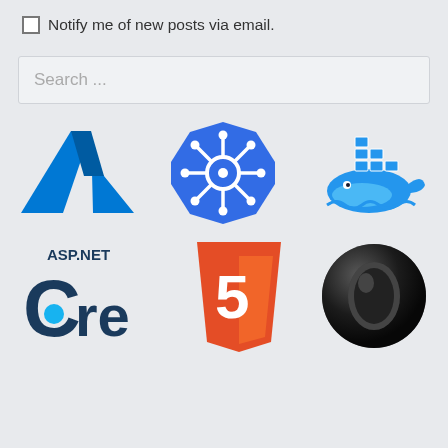Notify me of new posts via email.
Search ...
[Figure (logo): Azure logo (blue triangle with cutout), Kubernetes logo (blue octagon with helm wheel), Docker logo (blue whale carrying stacked containers)]
[Figure (logo): ASP.NET Core logo (text 'ASP.NET Core' with stylized C and blue dot), HTML5 logo (orange shield with white '5'), Opera browser logo (black torus/ring shape)]